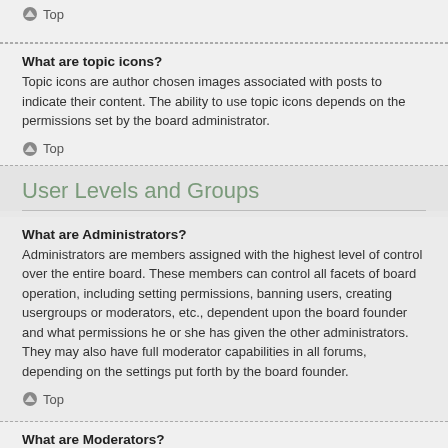Top
What are topic icons?
Topic icons are author chosen images associated with posts to indicate their content. The ability to use topic icons depends on the permissions set by the board administrator.
Top
User Levels and Groups
What are Administrators?
Administrators are members assigned with the highest level of control over the entire board. These members can control all facets of board operation, including setting permissions, banning users, creating usergroups or moderators, etc., dependent upon the board founder and what permissions he or she has given the other administrators. They may also have full moderator capabilities in all forums, depending on the settings put forth by the board founder.
Top
What are Moderators?
Moderators are individuals (or groups of individuals) who look after the forums from day to day. They have the authority to edit or delete posts and lock, unlock, move, delete and split topics in the forum they moderate. Generally, moderators are present to prevent users from going off-topic or posting abusive or offensive